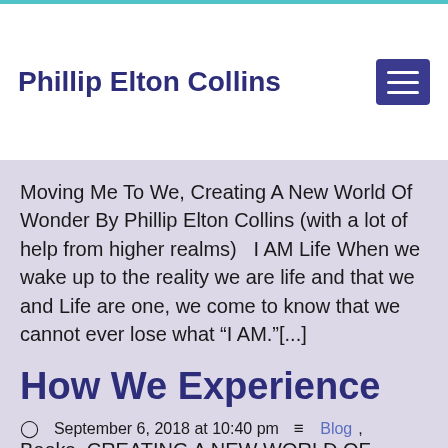Phillip Elton Collins
Moving Me To We, Creating A New World Of Wonder By Phillip Elton Collins (with a lot of help from higher realms)   I AM Life When we wake up to the reality we are life and that we and Life are one, we come to know that we cannot ever lose what “I AM.”[...]
How We Experience
September 6, 2018 at 10:40 pm  Blog, Books, CREATING A NEW WORLD OF